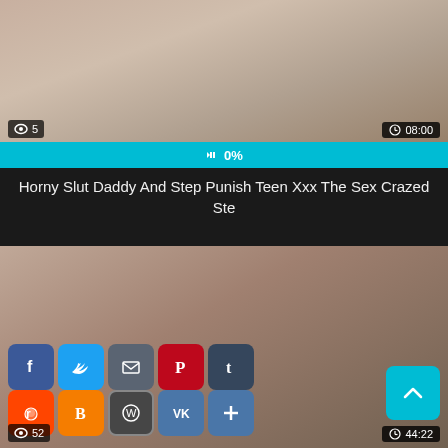[Figure (screenshot): Video thumbnail for first video, showing views badge '5' and duration '08:00', with 0% like bar]
Horny Slut Daddy And Step Punish Teen Xxx The Sex Crazed Ste
[Figure (screenshot): Video thumbnail for second video with social share buttons (Facebook, Twitter, Email, Pinterest, Tumblr, Reddit, Blogger, WordPress, VK, More) overlaid, scroll-to-top button, views badge '52' and duration '44:22']